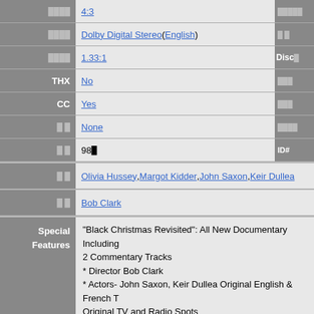| Label | Value | Right |
| --- | --- | --- |
| (aspect) | 4:3 |  |
| (audio) | Dolby Digital Stereo ( English ) |  |
| (ratio) | 1.33:1 | Disc |
| THX | No |  |
| CC | Yes |  |
| (subtitles) | None |  |
| (runtime) | 98 | ID# |
| (cast) | Olivia Hussey, Margot Kidder, John Saxon, Keir Dullea |  |
| (director) | Bob Clark |  |
| Special Features | "Black Christmas Revisited": All New Documentary Including 2 Commentary Tracks
* Director Bob Clark
* Actors- John Saxon, Keir Dullea Original English & French T
Original TV and Radio Spots
Alternative Title Sequences
Picture & Poster Gallery
Animated Menus
Dark Dreamers Television Series Episode with John Saxon
Reversible Cover With Original 1974 Artwork |  |